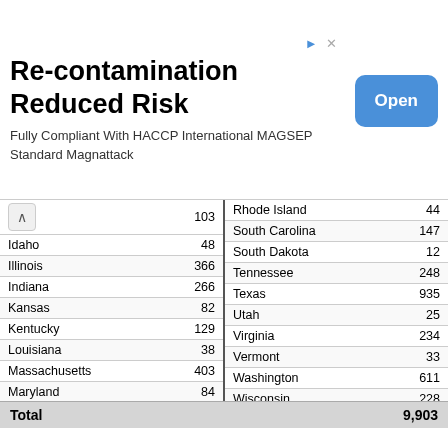[Figure (other): Advertisement banner: Re-contamination Reduced Risk. Fully Compliant With HACCP International MAGSEP Standard Magnattack. Open button.]
| State | Count |
| --- | --- |
| Idaho | 48 |
| Illinois | 366 |
| Indiana | 266 |
| Kansas | 82 |
| Kentucky | 129 |
| Louisiana | 38 |
| Massachusetts | 403 |
| Maryland | 84 |
| Maine | 41 |
| Michigan | 338 |
| Minnesota | 209 |
| Missouri | 143 |
| Mississippi | 50 |
| Rhode Island | 44 |
| South Carolina | 147 |
| South Dakota | 12 |
| Tennessee | 248 |
| Texas | 935 |
| Utah | 25 |
| Virginia | 234 |
| Vermont | 33 |
| Washington | 611 |
| Wisconsin | 228 |
| West Virginia | 36 |
| Wyoming | 8 |
| International |  |
Total 9,903